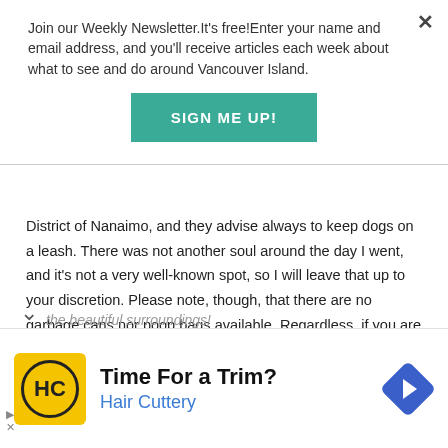Join our Weekly Newsletter.It's free!Enter your name and email address, and you'll receive articles each week about what to see and do around Vancouver Island.
[Figure (other): SIGN ME UP! button in teal/green color]
District of Nanaimo, and they advise always to keep dogs on a leash. There was not another soul around the day I went, and it's not a very well-known spot, so I will leave that up to your discretion. Please note, though, that there are no garbage cans nor poop bags available. Regardless, if you are bringing a dog, please clean up after it so the rest of us can
the beautiful surroundings!
[Figure (other): Hair Cuttery advertisement with logo and text 'Time For a Trim? Hair Cuttery' with navigation arrow icon]